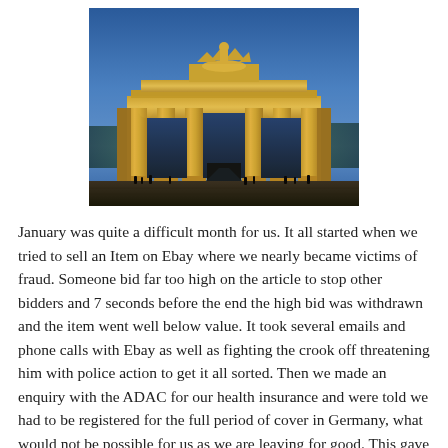[Figure (photo): Photograph of the Brandenburg Gate in Berlin, illuminated at dusk/night with golden lighting on the columns and statue on top, blue twilight sky in background, silhouettes of people at the base.]
January was quite a difficult month for us. It all started when we tried to sell an Item on Ebay where we nearly became victims of fraud. Someone bid far too high on the article to stop other bidders and 7 seconds before the end the high bid was withdrawn and the item went well below value. It took several emails and phone calls with Ebay as well as fighting the crook off threatening him with police action to get it all sorted. Then we made an enquiry with the ADAC for our health insurance and were told we had to be registered for the full period of cover in Germany, what would not be possible for us as we are leaving for good. This gave us quite a head ache and we were looking for alternatives